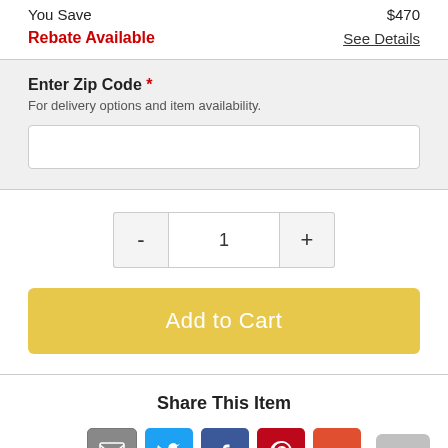You Save $470
Rebate Available   See Details
Enter Zip Code *
For delivery options and item availability.
- 1 +
Add to Cart
Share This Item
[Figure (infographic): Social share icons: email (gray), Twitter (blue), Facebook (blue), Pinterest (red), More (orange-red)]